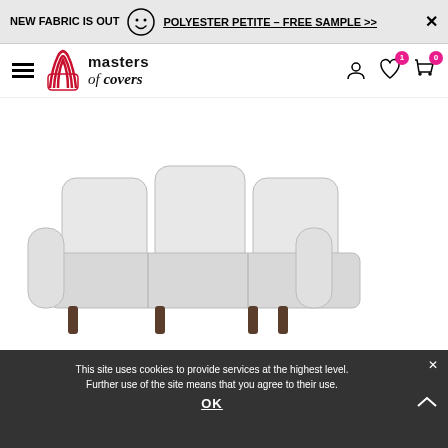NEW FABRIC IS OUT   POLYESTER PETITE – FREE SAMPLE >>   ×
[Figure (logo): Masters of Covers logo with stylized armchair icon and brand name text]
[Figure (photo): White three-seat sofa product image on white background]
This site uses cookies to provide services at the highest level. Further use of the site means that you agree to their use.
OK